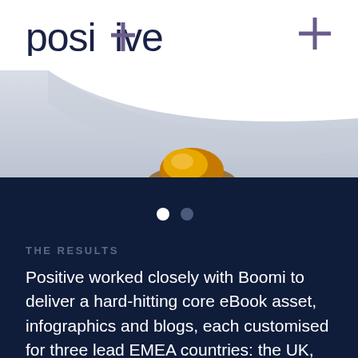[Figure (logo): Positive company logo with stylized plus sign in the letter t, dark navy text]
[Figure (photo): Abstract image showing a curved white/grey surface with a golden/amber droplet or object, dark navy background below]
THE RESULTS
Positive worked closely with Boomi to deliver a hard-hitting core eBook asset, infographics and blogs, each customised for three lead EMEA countries: the UK, France and Germany. In addition, Positive enabled a